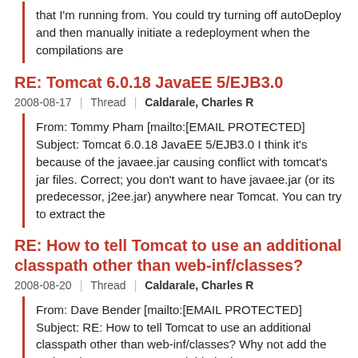that I'm running from. You could try turning off autoDeploy and then manually initiate a redeployment when the compilations are
RE: Tomcat 6.0.18 JavaEE 5/EJB3.0
2008-08-17  |  Thread  |  Caldarale, Charles R
From: Tommy Pham [mailto:[EMAIL PROTECTED] Subject: Tomcat 6.0.18 JavaEE 5/EJB3.0 I think it's because of the javaee.jar causing conflict with tomcat's jar files. Correct; you don't want to have javaee.jar (or its predecessor, j2ee.jar) anywhere near Tomcat. You can try to extract the
RE: How to tell Tomcat to use an additional classpath other than web-inf/classes?
2008-08-20  |  Thread  |  Caldarale, Charles R
From: Dave Bender [mailto:[EMAIL PROTECTED] Subject: RE: How to tell Tomcat to use an additional classpath other than web-inf/classes? Why not add the path to the CLASSPATH variable in the 'TOMCAT_HOME/bin/setclasspath.sh' script (or setclasspath.bat for Windows)? Because that prevents the
RE: T...